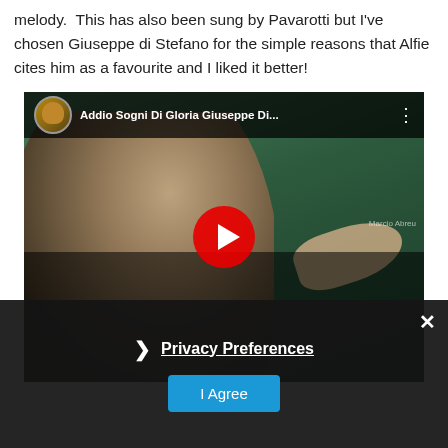melody.  This has also been sung by Pavarotti but I've chosen Giuseppe di Stefano for the simple reasons that Alfie cites him as a favourite and I liked it better!
[Figure (screenshot): YouTube video embed showing 'Addio Sogni Di Gloria Giuseppe Di...' with a thumbnail of an elderly man with white hair singing outdoors with arms outstretched, green wooded hills in background. A privacy preferences overlay is shown at the bottom with an 'I Agree' button.]